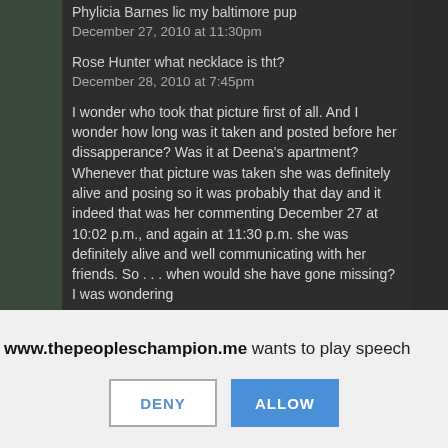[Figure (screenshot): Screenshot of a dark-themed comment section showing Facebook-style comments about Phylicia Barnes. Comments from 'Phylicia Barnes lic my baltimore pup' dated December 27, 2010 at 11:30pm, 'Rose Hunter what necklace is tht?' dated December 28, 2010 at 7:45pm, and a longer comment questioning who took the photo and when, referencing December 27 at 10:02 p.m. and 11:30 p.m. as times she was alive.]
www.thepeopleschampion.me wants to play speech
DENY
ALLOW